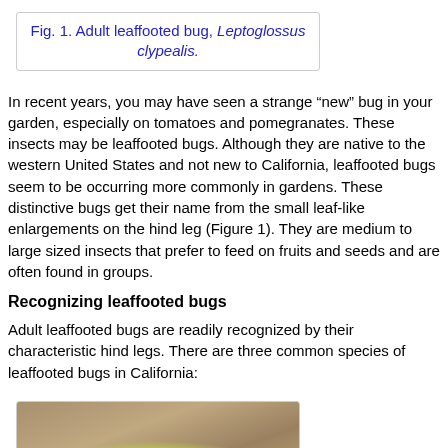Fig. 1. Adult leaffooted bug, Leptoglossus clypealis.
In recent years, you may have seen a strange “new” bug in your garden, especially on tomatoes and pomegranates. These insects may be leaffooted bugs. Although they are native to the western United States and not new to California, leaffooted bugs seem to be occurring more commonly in gardens. These distinctive bugs get their name from the small leaf-like enlargements on the hind leg (Figure 1). They are medium to large sized insects that prefer to feed on fruits and seeds and are often found in groups.
Recognizing leaffooted bugs
Adult leaffooted bugs are readily recognized by their characteristic hind legs. There are three common species of leaffooted bugs in California:
[Figure (photo): Photo of a leaffooted bug nymph on a pale green round fruit (possibly an unripe tomato or similar), set against a sandy/dirt background. The nymph appears as a small elongated brownish-orange insect.]